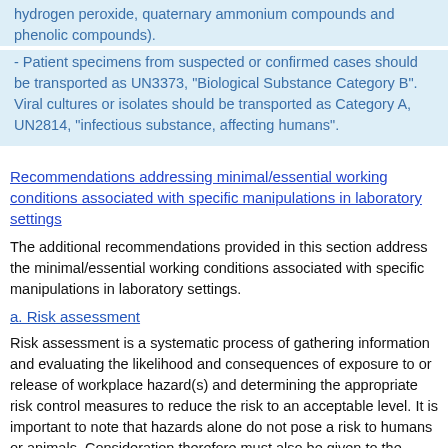hydrogen peroxide, quaternary ammonium compounds and phenolic compounds).
- Patient specimens from suspected or confirmed cases should be transported as UN3373, "Biological Substance Category B". Viral cultures or isolates should be transported as Category A, UN2814, "infectious substance, affecting humans".
Recommendations addressing minimal/essential working conditions associated with specific manipulations in laboratory settings
The additional recommendations provided in this section address the minimal/essential working conditions associated with specific manipulations in laboratory settings.
a. Risk assessment
Risk assessment is a systematic process of gathering information and evaluating the likelihood and consequences of exposure to or release of workplace hazard(s) and determining the appropriate risk control measures to reduce the risk to an acceptable level. It is important to note that hazards alone do not pose a risk to humans or animals. Consideration therefore must also be given to the types of equipment